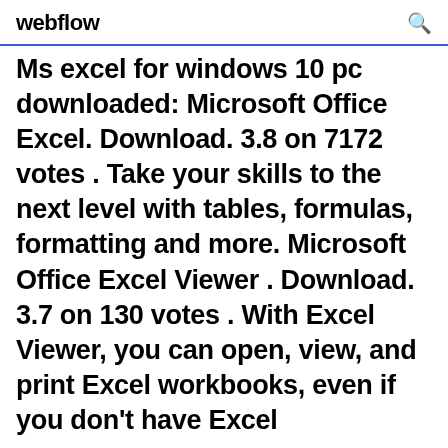webflow
Ms excel for windows 10 pc downloaded: Microsoft Office Excel. Download. 3.8 on 7172 votes . Take your skills to the next level with tables, formulas, formatting and more. Microsoft Office Excel Viewer . Download. 3.7 on 130 votes . With Excel Viewer, you can open, view, and print Excel workbooks, even if you don't have Excel
Microsoft Excel - Work together on Excel ...
Collaborate for free with an online version of